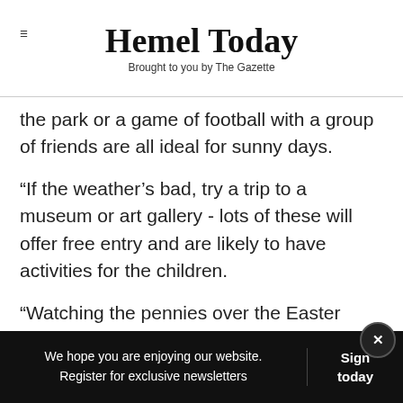Hemel Today — Brought to you by The Gazette
the park or a game of football with a group of friends are all ideal for sunny days.
“If the weather’s bad, try a trip to a museum or art gallery - lots of these will offer free entry and are likely to have activities for the children.
“Watching the pennies over the Easter holiday just means being a little more creative and making the most of what’s around you.”
[Figure (other): Advertisement banner with chef icon and road sign icon]
We hope you are enjoying our website. Register for exclusive newsletters | Sign today